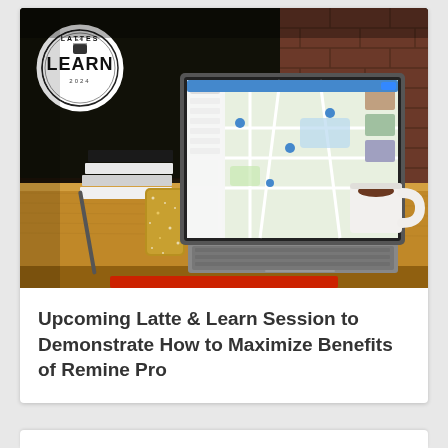[Figure (photo): Photo of a laptop on a wooden desk showing a map on screen, with a Lattes & Learn logo overlay in top left, stacked books, a glitter phone case, and a white coffee mug. Red chair visible below. Brick wall background.]
Upcoming Latte & Learn Session to Demonstrate How to Maximize Benefits of Remine Pro